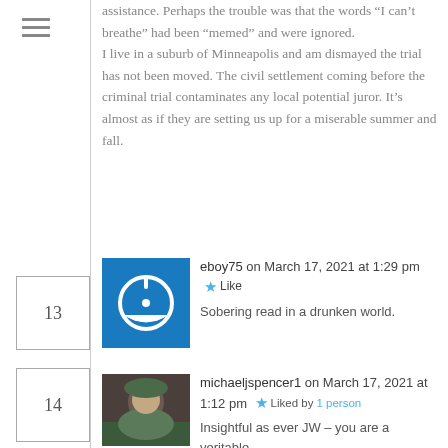assistance. Perhaps the trouble was that the words “I can’t breathe” had been “memed” and were ignored.
I live in a suburb of Minneapolis and am dismayed the trial has not been moved. The civil settlement coming before the criminal trial contaminates any local potential juror. It’s almost as if they are setting us up for a miserable summer and fall.
eboy75 on March 17, 2021 at 1:29 pm ★ Like
Sobering read in a drunken world.
michaeljspencer1 on March 17, 2021 at 1:12 pm ★ Liked by 1 person
Insightful as ever JW – you are a veritable